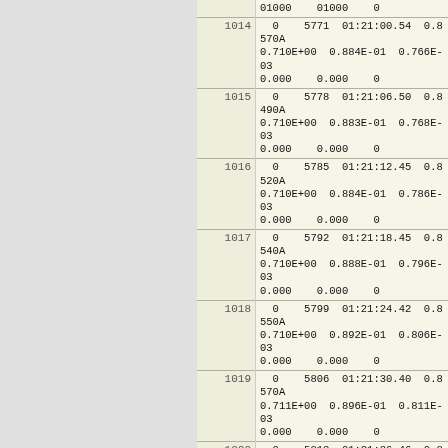| row_id | data |
| --- | --- |
| (cont) | 0    01000    01000    0 |
| 1014 | 0    5771  01:21:00.54  0.8570A
0.710E+00  0.884E-01  0.766E-03
0.000    0.000    0 |
| 1015 | 0    5778  01:21:06.50  0.8490A
0.710E+00  0.883E-01  0.768E-03
0.000    0.000    0 |
| 1016 | 0    5785  01:21:12.45  0.8520A
0.710E+00  0.884E-01  0.786E-03
0.000    0.000    0 |
| 1017 | 0    5792  01:21:18.45  0.8540A
0.710E+00  0.888E-01  0.796E-03
0.000    0.000    0 |
| 1018 | 0    5799  01:21:24.42  0.8550A
0.710E+00  0.892E-01  0.806E-03
0.000    0.000    0 |
| 1019 | 0    5806  01:21:30.40  0.8570A
0.711E+00  0.896E-01  0.811E-03
0.000    0.000    0 |
| 1020 | 0    5813  01:21:36.46  0.8730A
0.712E+00  0.901E-01  0.829E-03
0.000    0.000    0 |
| 1021 | 0    5820  01:21:42.45  0.8500A
0.712E+00  0.905E-01  0.806E-03
0.000    0.000    0 |
| 1022 | 0    5827  01:21:48.49  0.8680A
0.712E+00  0.904E-01  0.822E-03
0.000    0.000    0 |
| 1023 | 0    5834  01:21:54.56  0.8680A
0.711E+00  0.902E-01  0.828E-03
0.000    0.000    0 |
| 1024 | 0    5841  01:22:00.64  0.8710A
0.710E+00  0.899E-01  0.818E-03
0.000    0.000    0 |
| 1025 | 0    5848  01:22:06.76  0.8760A
0.709E+00  0.894E-01  0.822E-03 |